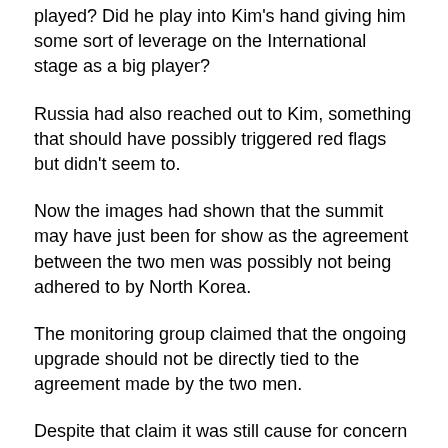played? Did he play into Kim's hand giving him some sort of leverage on the International stage as a big player?
Russia had also reached out to Kim, something that should have possibly triggered red flags but didn't seem to.
Now the images had shown that the summit may have just been for show as the agreement between the two men was possibly not being adhered to by North Korea.
The monitoring group claimed that the ongoing upgrade should not be directly tied to the agreement made by the two men.
Despite that claim it was still cause for concern as the summit had already taken place and some sort of agreement was reached.
"North Korea is not obligated to any specific actions as of yet